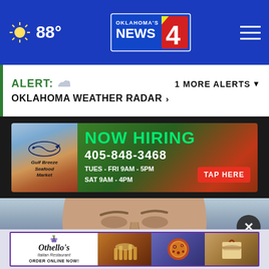88° — Oklahoma's News 4
ALERT: OKLAHOMA WEATHER RADAR > 1 MORE ALERTS
[Figure (photo): Advertisement banner: Gulf Breeze Seafood Market — NOW HIRING 405-848-3468 TUES-FRI 9AM-5PM SAT 9AM-4PM TAP HERE]
[Figure (photo): Close-up photo of a man's face, slightly blurred, light background]
[Figure (photo): Advertisement banner: Othello's Italian Restaurant — ORDER ONLINE NOW! with food photos]